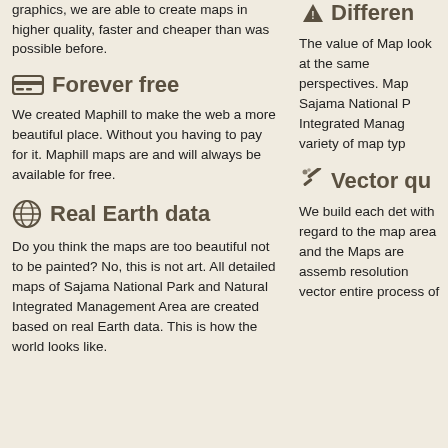graphics, we are able to create maps in higher quality, faster and cheaper than was possible before.
Forever free
We created Maphill to make the web a more beautiful place. Without you having to pay for it. Maphill maps are and will always be available for free.
Real Earth data
Do you think the maps are too beautiful not to be painted? No, this is not art. All detailed maps of Sajama National Park and Natural Integrated Management Area are created based on real Earth data. This is how the world looks like.
Differen
The value of Map look at the same perspectives. Map Sajama National Integrated Manag variety of map typ
Vector qu
We build each det with regard to the map area and the Maps are assemb resolution vector entire process of